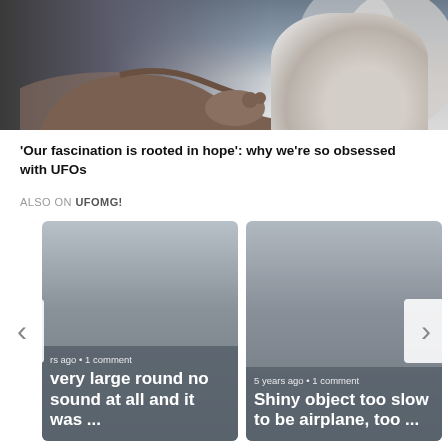[Figure (photo): Close-up photo of a person's arm and hand resting on a surface, with smoky or misty background]
'Our fascination is rooted in hope': why we're so obsessed with UFOs
ALSO ON UFOMG!
[Figure (screenshot): Card carousel with left/right arrows. Left card: 'rs ago • 1 comment' / 'very large round no sound at all and it was ...' Right card: '5 years ago • 1 comment' / 'Shiny object too slow to be airplane, too ...']